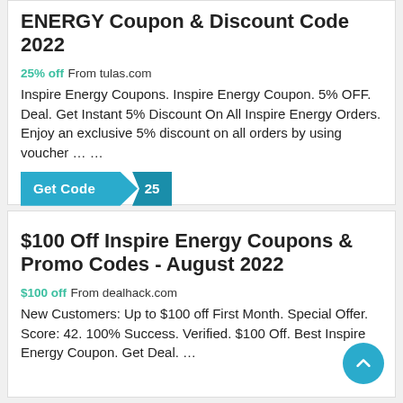ENERGY Coupon & Discount Code 2022
25% off From tulas.com
Inspire Energy Coupons. Inspire Energy Coupon. 5% OFF. Deal. Get Instant 5% Discount On All Inspire Energy Orders. Enjoy an exclusive 5% discount on all orders by using voucher … …
[Figure (other): Get Code button with arrow tail showing '25']
$100 Off Inspire Energy Coupons & Promo Codes - August 2022
$100 off From dealhack.com
New Customers: Up to $100 off First Month. Special Offer. Score: 42. 100% Success. Verified. $100 Off. Best Inspire Energy Coupon. Get Deal. …